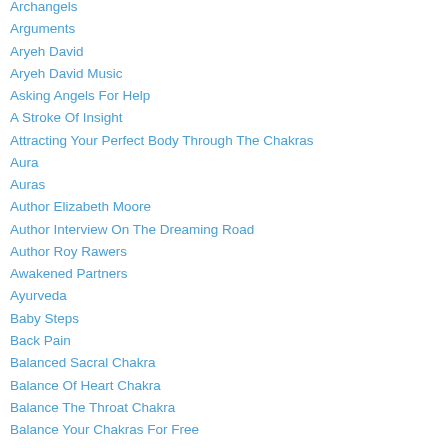Archangels
Arguments
Aryeh David
Aryeh David Music
Asking Angels For Help
A Stroke Of Insight
Attracting Your Perfect Body Through The Chakras
Aura
Auras
Author Elizabeth Moore
Author Interview On The Dreaming Road
Author Roy Rawers
Awakened Partners
Ayurveda
Baby Steps
Back Pain
Balanced Sacral Chakra
Balance Of Heart Chakra
Balance The Throat Chakra
Balance Your Chakras For Free